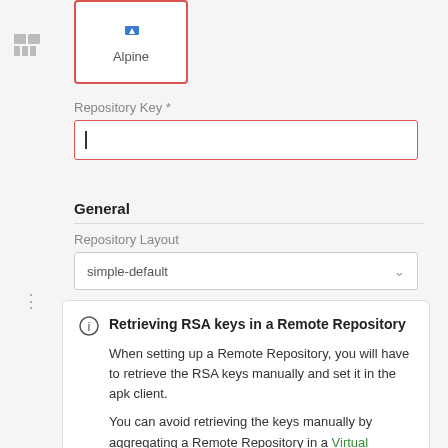[Figure (screenshot): Alpine repository icon with red border selection card showing 'Alpine' label]
Repository Key *
(empty text input field with cursor)
General
Repository Layout
simple-default
Retrieving RSA keys in a Remote Repository
When setting up a Remote Repository, you will have to retrieve the RSA keys manually and set it in the apk client.

You can avoid retrieving the keys manually by aggregating a Remote Repository in a Virtual Repository that will enable you to use the Virtual Repository's key-pair to re-sign the aggregated index file.

In order to do so, configure your Virtual